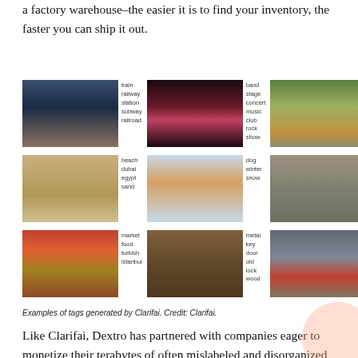a factory warehouse–the easier it is to find your inventory, the faster you can ship it out.
[Figure (photo): Grid of 9 photo thumbnails with associated keyword tags generated by Clarifai. Row 1: train at railway station with tags (train, railway station, subway, railroad); band on stage with tags (band, stage, concert, music, club, rock show); girl in garden with tags (garden, kid, flower, woman, child, tree). Row 2: beach scene with camel shadows with tags (beach, dubai, egypt, sand); dog in snow with tags (dog, winter, snow); old alley with tags (street, alley, old, mexico, italian). Row 3: market food with tags (market, food, turkish, istanbul); wooden door with metal key with tags (metal, key, door, old, lock, wood); rock climber with tags (climb, rock climber, mountain, sport).]
Examples of tags generated by Clarifai. Credit: Clarifai.
Like Clarifai, Dextro has partnered with companies eager to monetize their terabytes of often mislabeled and disorganized video content in order to create channels and curate collections using this automated categorization technology.